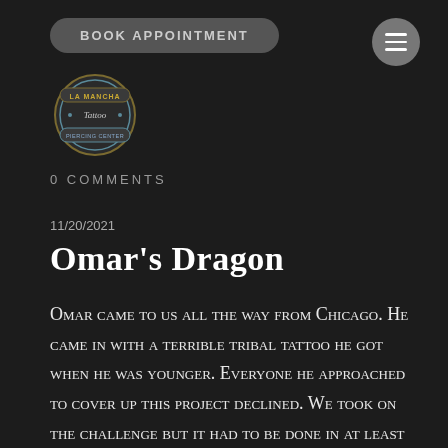BOOK APPOINTMENT
[Figure (logo): La Mancha Tattoo & Piercing Center logo — ornate badge style with blue and gold coloring]
0 COMMENTS
11/20/2021
Omar's Dragon
Omar came to us all the way from Chicago. He came in with a terrible tribal tattoo he got when he was younger. Everyone he approached to cover up this project declined. We took on the challenge but it had to be done in at least two visits. The first session was six